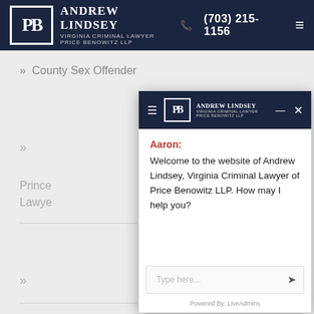Andrew Lindsey Virginia Criminal Lawyer Price Benowitz LLP | (703) 215-1156
County Sex Offender
[Figure (screenshot): Chat widget overlay showing Andrew Lindsey Price Benowitz LLP branding with a welcome message from Aaron]
Aaron: Welcome to the website of Andrew Lindsey, Virginia Criminal Lawyer of Price Benowitz LLP. How may I help you?
Type here...
Powered By: LiveAdmins
Prince Lawye